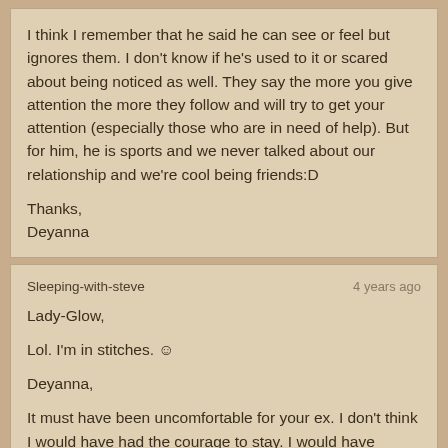I think I remember that he said he can see or feel but ignores them. I don't know if he's used to it or scared about being noticed as well. They say the more you give attention the more they follow and will try to get your attention (especially those who are in need of help). But for him, he is sports and we never talked about our relationship and we're cool being friends:D

Thanks,
Deyanna
Sleeping-with-steve
4 years ago

Lady-Glow,

Lol. I'm in stitches. ☺

Deyanna,

It must have been uncomfortable for your ex. I don't think I would have had the courage to stay. I would have bolted.